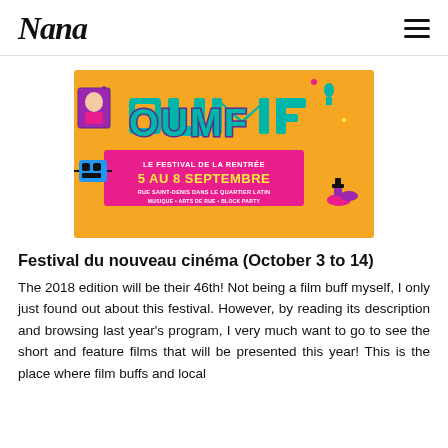Nana
[Figure (illustration): OUMF festival banner: orange background with colorful illustrations of cartoon characters, music instruments, and graffiti-style lettering. Text reads: 'OUMF - LE FESTIVAL DE LA RENTRÉE - 5 AU 8 SEPTEMBRE - RUE SAINT-DENIS DANS LE QUARTIER LATIN - MUSIQUE • ARTS DE RUE • BLOCK PARTY']
Festival du nouveau cinéma (October 3 to 14)
The 2018 edition will be their 46th! Not being a film buff myself, I only just found out about this festival. However, by reading its description and browsing last year's program, I very much want to go to see the short and feature films that will be presented this year! This is the place where film buffs and local